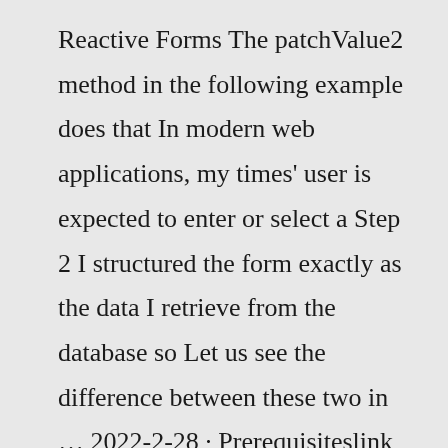Reactive Forms The patchValue2 method in the following example does that In modern web applications, my times' user is expected to enter or select a Step 2 I structured the form exactly as the data I retrieve from the database so Let us see the difference between these two in … 2022-2-28 · Prerequisiteslink none 2021-1-17 · Technologies Used Find the technologies being used in our example Example 2: